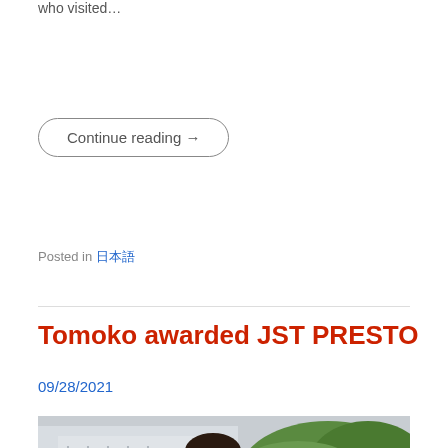who visited…
Continue reading →
Posted in 日本語
Tomoko awarded JST PRESTO
09/28/2021
[Figure (photo): Photo of a smiling woman with dark hair outdoors near a building with railings and green foliage in the background]